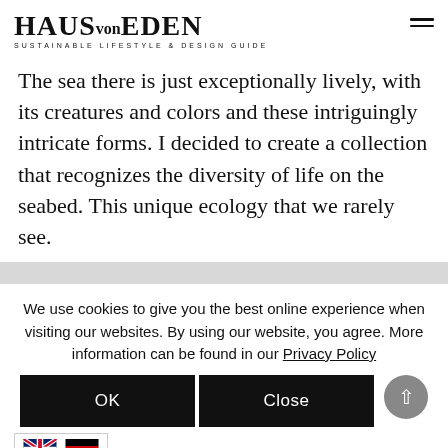HAUS von EDEN — SUSTAINABLE LIFESTYLE & DESIGN GUIDE
The sea there is just exceptionally lively, with its creatures and colors and these intriguingly intricate forms. I decided to create a collection that recognizes the diversity of life on the seabed. This unique ecology that we rarely see.
We use cookies to give you the best online experience when visiting our websites. By using our website, you agree. More information can be found in our Privacy Policy
OK   Close